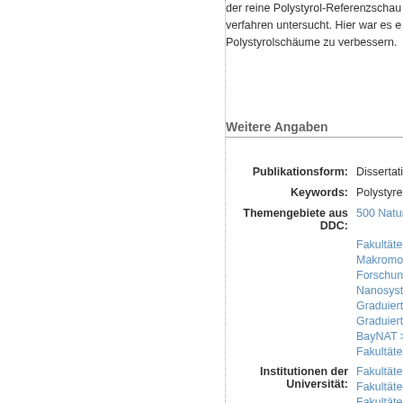der reine Polystyrol-Referenzschau… verfahren untersucht. Hier war es e… Polystyrolschäume zu verbessern.
Weitere Angaben
| Field | Value |
| --- | --- |
| Publikationsform: | Dissertation |
| Keywords: | Polystyrene |
| Themengebiete aus DDC: | 500 Naturw… |
|  | Fakultäten |
|  | Makromole… |
|  | Forschungs… |
|  | Nanosyste… |
|  | Graduierte… |
|  | Graduierte… |
|  | BayNAT > … |
|  | Fakultäten |
| Institutionen der Universität: | Fakultäten |
|  | Fakultäten |
|  | Fakultäten |
|  | Makromole… |
|  | Forschungs… |
|  | Forschungs… |
|  | Forschungs… |